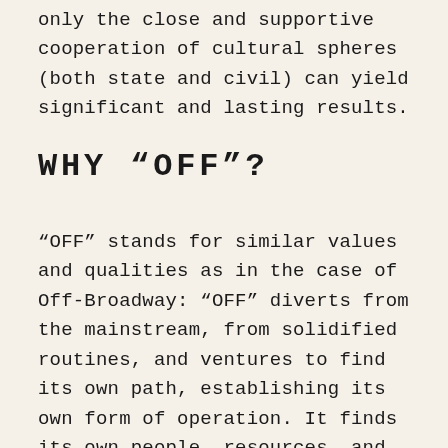only the close and supportive cooperation of cultural spheres (both state and civil) can yield significant and lasting results.
WHY “OFF”?
“OFF” stands for similar values and qualities as in the case of Off-Broadway: “OFF” diverts from the mainstream, from solidified routines, and ventures to find its own path, establishing its own form of operation. It finds its own people, resources, and locations. Although smaller, more spontaneous, and with a tighter budget, it makes no compromises in quality, and is less